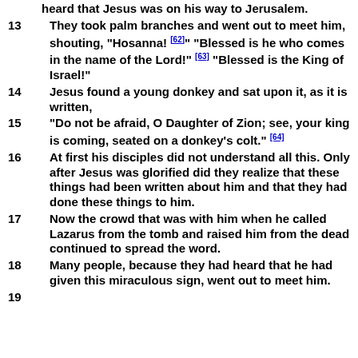heard that Jesus was on his way to Jerusalem.
13  They took palm branches and went out to meet him, shouting, "Hosanna! [62]" "Blessed is he who comes in the name of the Lord!" [63] "Blessed is the King of Israel!"
14  Jesus found a young donkey and sat upon it, as it is written,
15  "Do not be afraid, O Daughter of Zion; see, your king is coming, seated on a donkey's colt." [64]
16  At first his disciples did not understand all this. Only after Jesus was glorified did they realize that these things had been written about him and that they had done these things to him.
17  Now the crowd that was with him when he called Lazarus from the tomb and raised him from the dead continued to spread the word.
18  Many people, because they had heard that he had given this miraculous sign, went out to meet him.
19